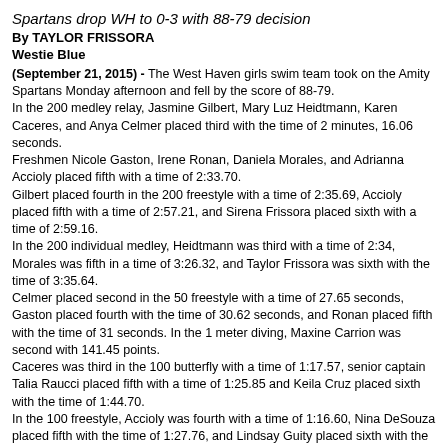Spartans drop WH to 0-3 with 88-79 decision
By TAYLOR FRISSORA
Westie Blue
(September 21, 2015) - The West Haven girls swim team took on the Amity Spartans Monday afternoon and fell by the score of 88-79. In the 200 medley relay, Jasmine Gilbert, Mary Luz Heidtmann, Karen Caceres, and Anya Celmer placed third with the time of 2 minutes, 16.06 seconds. Freshmen Nicole Gaston, Irene Ronan, Daniela Morales, and Adrianna Accioly placed fifth with a time of 2:33.70. Gilbert placed fourth in the 200 freestyle with a time of 2:35.69, Accioly placed fifth with a time of 2:57.21, and Sirena Frissora placed sixth with a time of 2:59.16. In the 200 individual medley, Heidtmann was third with a time of 2:34, Morales was fifth in a time of 3:26.32, and Taylor Frissora was sixth with the time of 3:35.64. Celmer placed second in the 50 freestyle with a time of 27.65 seconds, Gaston placed fourth with the time of 30.62 seconds, and Ronan placed fifth with the time of 31 seconds. In the 1 meter diving, Maxine Carrion was second with 141.45 points. Caceres was third in the 100 butterfly with a time of 1:17.57, senior captain Talia Raucci placed fifth with a time of 1:25.85 and Keila Cruz placed sixth with the time of 1:44.70. In the 100 freestyle, Accioly was fourth with a time of 1:16.60, Nina DeSouza placed fifth with the time of 1:27.76, and Lindsay Guity placed sixth with the time of 1:56.90. Celmer placed third in the 500 freestyle with the time of 6:04.90, and Taylor Frissora placed fifth with the time of 8:39.52. In the 200 free relay, Julie Furtado, Mikaela Ford-Smith, Sirena Frissora, and Morgan Ruggiero finished fourth with the time of 2:41.28. Cruz, Patty Vecellio,